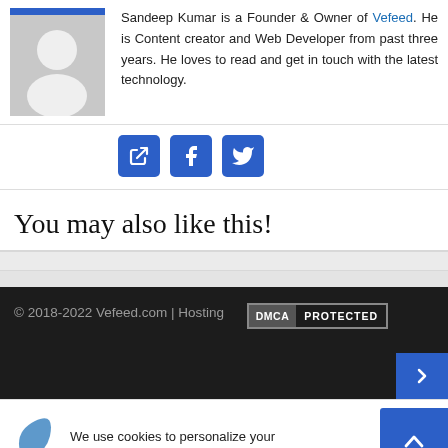[Figure (photo): Gray placeholder avatar silhouette image]
Sandeep Kumar is a Founder & Owner of Vefeed. He is Content creator and Web Developer from past three years. He loves to read and get in touch with the latest technology.
[Figure (infographic): Three blue social media icon buttons: external link, Facebook, Twitter]
You may also like this!
© 2018-2022 Vefeed.com | Hosting
[Figure (infographic): DMCA PROTECTED badge]
[Figure (infographic): Blue scroll-to-top button with up arrow]
We use cookies to personalize your